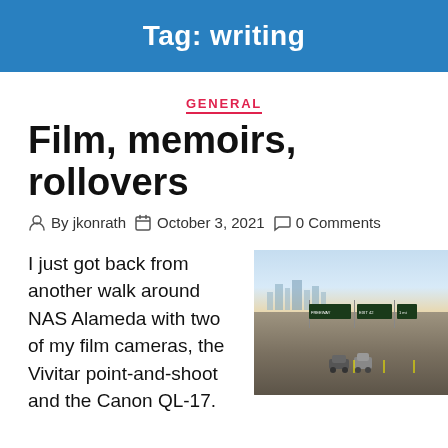Tag: writing
GENERAL
Film, memoirs, rollovers
By jkonrath   October 3, 2021   0 Comments
I just got back from another walk around NAS Alameda with two of my film cameras, the Vivitar point-and-shoot and the Canon QL-17.
[Figure (photo): A highway scene with cars, green overhead road signs, and a city skyline in the background under a blue sky.]